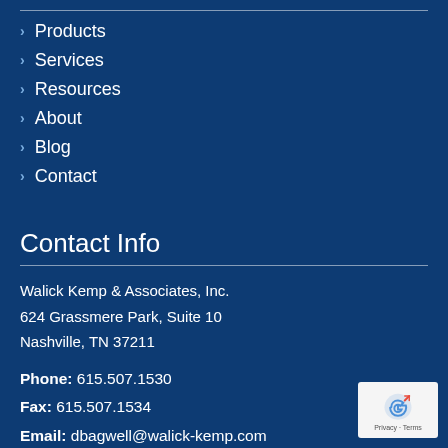Products
Services
Resources
About
Blog
Contact
Contact Info
Walick Kemp & Associates, Inc.
624 Grassmere Park, Suite 10
Nashville, TN 37211
Phone: 615.507.1530
Fax: 615.507.1534
Email: dbagwell@walick-kemp.com